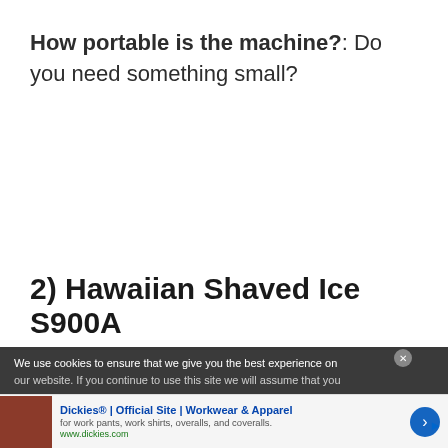How portable is the machine?: Do you need something small?
2) Hawaiian Shaved Ice S900A
We use cookies to ensure that we give you the best experience on our website. If you continue to use this site we will assume that you
Dickies® | Official Site | Workwear & Apparel
for work pants, work shirts, overalls, and coveralls.
www.dickies.com